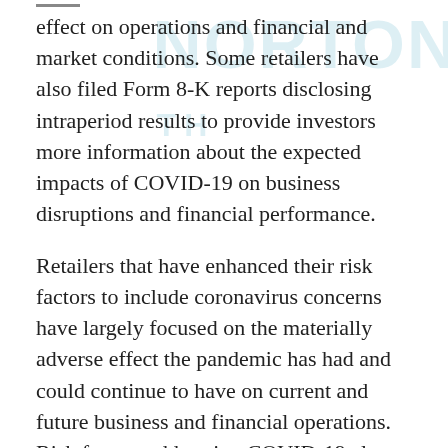effect on operations and financial and market conditions. Some retailers have also filed Form 8-K reports disclosing intraperiod results to provide investors more information about the expected impacts of COVID-19 on business disruptions and financial performance.
Retailers that have enhanced their risk factors to include coronavirus concerns have largely focused on the materially adverse effect the pandemic has had and could continue to have on current and future business and financial operations. Risk factors addressing COVID-19 almost always stress the substantial uncertainty surrounding the long-term effects of the coronavirus and include an expectation that significant business disruptions to operations